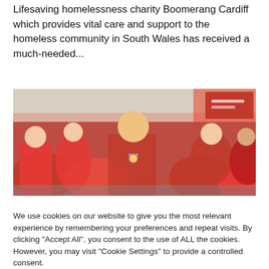Lifesaving homelessness charity Boomerang Cardiff which provides vital care and support to the homeless community in South Wales has received a much-needed...
[Figure (photo): Outdoor photo of a large group of people at what appears to be a running event or marathon. A man in the centre is wearing a red t-shirt and a blue finisher's medal, wrapped in a red thermal blanket. Many other participants around him are also wrapped in red metallic emergency/thermal blankets.]
We use cookies on our website to give you the most relevant experience by remembering your preferences and repeat visits. By clicking "Accept All", you consent to the use of ALL the cookies. However, you may visit "Cookie Settings" to provide a controlled consent.